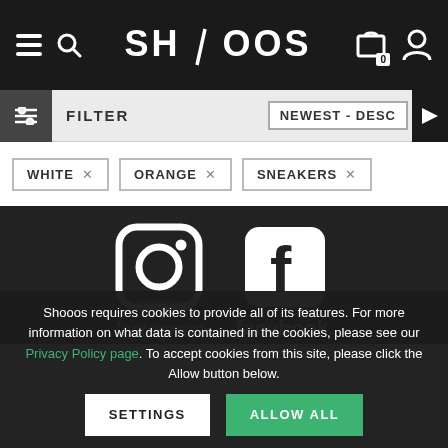[Figure (screenshot): Website header with hamburger menu, search icon, SHOOOS logo, cart icon with 0 badge, and user icon on dark background]
[Figure (screenshot): Filter bar showing FILTER button and NEWEST - DESC sort dropdown]
WHITE ×
ORANGE ×
SNEAKERS ×
[Figure (logo): Instagram logo (camera icon) with Instagram text below]
[Figure (logo): Facebook logo (f in rounded square) with facebook text below]
Shooos requires cookies to provide all of its features. For more information on what data is contained in the cookies, please see our Privacy Policy page. To accept cookies from this site, please click the Allow button below.
SETTINGS
ALLOW ALL